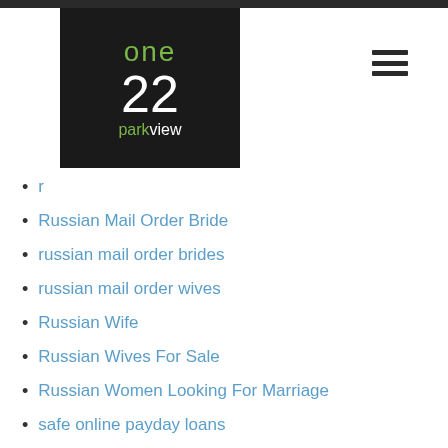[Figure (logo): One22 Parkview logo — black background with green 'one', white '22', green 'park' and white 'view' text]
r
Russian Mail Order Bride
russian mail order brides
russian mail order wives
Russian Wife
Russian Wives For Sale
Russian Women Looking For Marriage
safe online payday loans
Same Day Installment Loans In Missouri
Samples Of Persuasive Speech Outlines
Seeking Arrangement Support